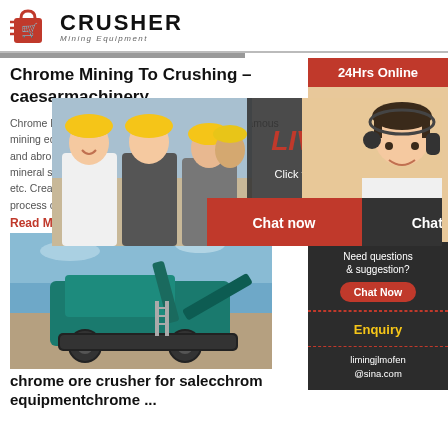CRUSHER Mining Equipment
Chrome Mining To Crushing - caesarmachinery
Chrome Mining To Crushing. Prompt : Caesar is a famous mining equipment manufacturer well-known both at home and abroad, a large-scale grinding equipment and mineral separation plant manufacturer, mobile crusher, etc. Creating a successful crushing station in the process of m...
Read More
[Figure (photo): Large green mobile crushing machine on a sandy/rocky terrain under blue sky]
chrome ore crusher for salechrome equipmentchrome ...
[Figure (infographic): Live Chat popup overlay showing workers in hard hats on left, a customer service representative on the right, LIVE CHAT text in red, 'Click for a Free Consultation', Chat now and Chat later buttons]
Need questions & suggestion?
Chat Now
Enquiry
limingjlmofen@sina.com